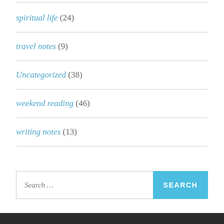spiritual life (24)
travel notes (9)
Uncategorized (38)
weekend reading (46)
writing notes (13)
Search...